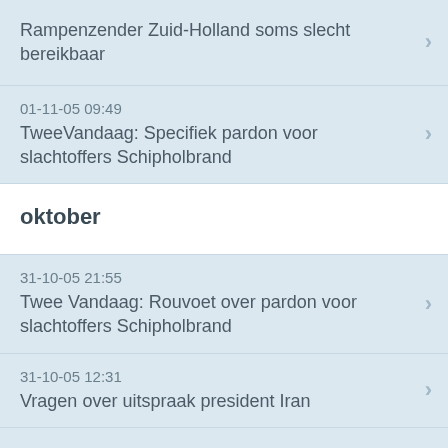Rampenzender Zuid-Holland soms slecht bereikbaar
01-11-05 09:49
TweeVandaag: Specifiek pardon voor slachtoffers Schipholbrand
oktober
31-10-05 21:55
Twee Vandaag: Rouvoet over pardon voor slachtoffers Schipholbrand
31-10-05 12:31
Vragen over uitspraak president Iran